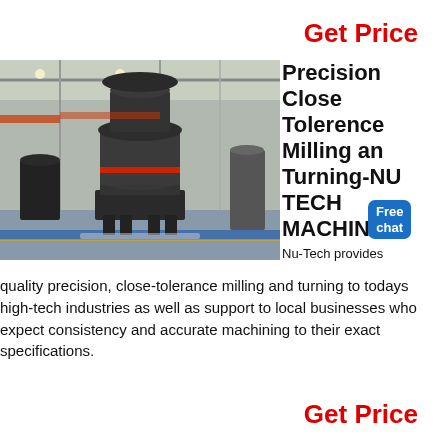Get Price
[Figure (photo): Industrial factory floor showing large cone crusher / milling machine equipment in a warehouse setting with steel structure and overhead cranes.]
Precision Close Tolerence Milling and Turning-NU TECH MACHINING
Free chat
Nu-Tech provides quality precision, close-tolerance milling and turning to todays high-tech industries as well as support to local businesses who expect consistency and accurate machining to their exact specifications.
Get Price